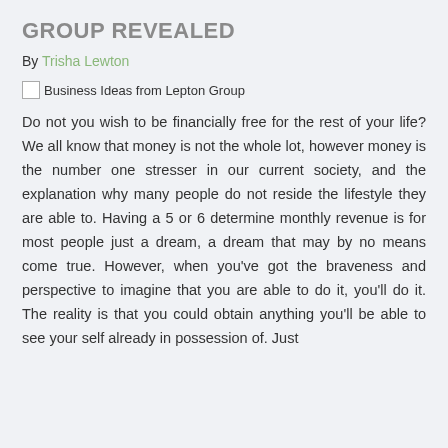GROUP REVEALED
By Trisha Lewton
[Figure (photo): Business Ideas from Lepton Group — broken image placeholder with alt text]
Do not you wish to be financially free for the rest of your life? We all know that money is not the whole lot, however money is the number one stresser in our current society, and the explanation why many people do not reside the lifestyle they are able to. Having a 5 or 6 determine monthly revenue is for most people just a dream, a dream that may by no means come true. However, when you've got the braveness and perspective to imagine that you are able to do it, you'll do it. The reality is that you could obtain anything you'll be able to see your self already in possession of. Just